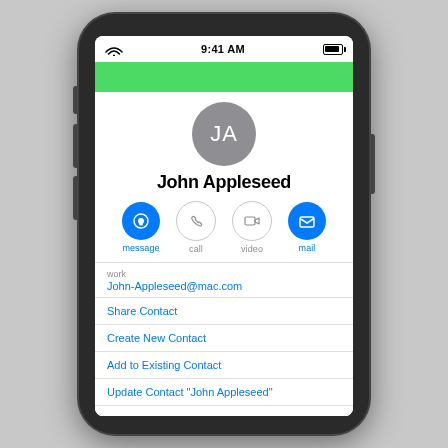[Figure (screenshot): iOS iPhone mockup showing a contact card for John Appleseed. The screen shows a status bar with Wi-Fi, time 9:41 AM, and battery. A green navigation bar is at the top. Below is a circular grey avatar with initials JA, the name John Appleseed, four action buttons (message, call, video, mail), and a list with email John-Appleseed@mac.com, Share Contact, Create New Contact, Add to Existing Contact, Update Contact "John Appleseed".]